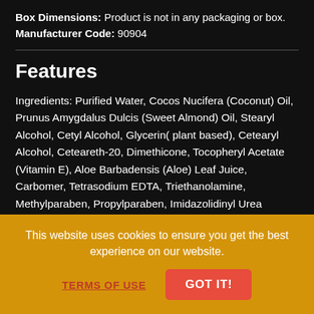Box Dimensions: Product is not in any packaging or box. Manufacturer Code: 90904
Features
Ingredients: Purified Water, Cocos Nucifera (Coconut) Oil, Prunus Amygdalus Dulcis (Sweet Almond) Oil, Stearyl Alcohol, Cetyl Alcohol, Glycerin( plant based), Cetearyl Alcohol, Ceteareth-20, Dimethicone, Tocopheryl Acetate (Vitamin E), Aloe Barbadensis (Aloe) Leaf Juice, Carbomer, Tetrasodium EDTA, Triethanolamine, Methylparaben, Propylparaben, Imidazolidinyl Urea
To Use:
This website uses cookies to ensure you get the best experience on our website.
TERMS OF USE
GOT IT!